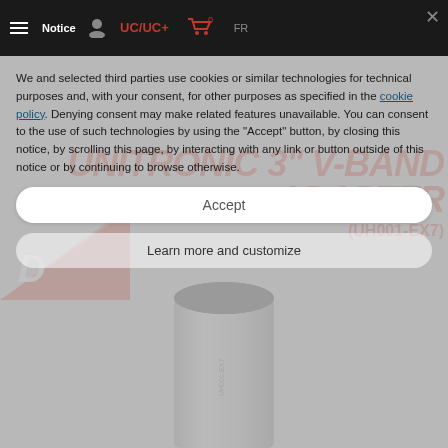Notice  UC/UC+  FR
TURBOS / PULLEY KITS   FUELING   ACCESSORIES
UNITRONIC 3" V-BAND ADAPTER (UH001-EX7)
We and selected third parties use cookies or similar technologies for technical purposes and, with your consent, for other purposes as specified in the cookie policy. Denying consent may make related features unavailable. You can consent to the use of such technologies by using the "Accept" button, by closing this notice, by scrolling this page, by interacting with any link or button outside of this notice or by continuing to browse otherwise.
Accept
Learn more and customize
[Figure (photo): Unitronic branded V-band adapter cylinder product photo, silver metallic tube with black top cap, UH001-EX7 label on side]